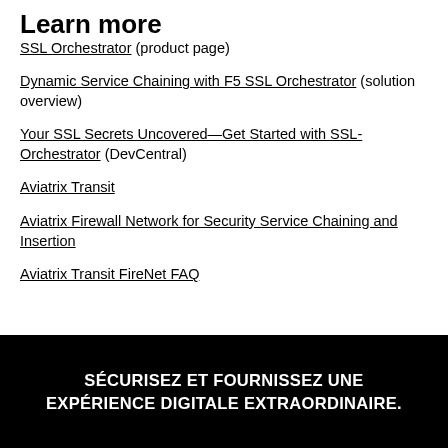Learn more
SSL Orchestrator (product page)
Dynamic Service Chaining with F5 SSL Orchestrator (solution overview)
Your SSL Secrets Uncovered—Get Started with SSL-Orchestrator (DevCentral)
Aviatrix Transit
Aviatrix Firewall Network for Security Service Chaining and Insertion
Aviatrix Transit FireNet FAQ
SÉCURISEZ ET FOURNISSEZ UNE EXPÉRIENCE DIGITALE EXTRAORDINAIRE.